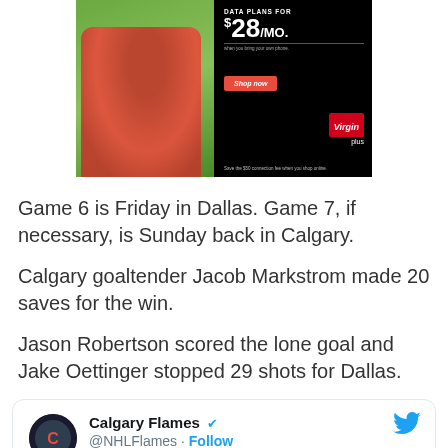[Figure (photo): Virgin Plus advertisement banner showing a woman in red on grass with data plans for $28/mo offer and Shop now button]
Game 6 is Friday in Dallas. Game 7, if necessary, is Sunday back in Calgary.
Calgary goaltender Jacob Markstrom made 20 saves for the win.
Jason Robertson scored the lone goal and Jake Oettinger stopped 29 shots for Dallas.
[Figure (screenshot): Calgary Flames Twitter/X card showing account name Calgary Flames with blue checkmark, handle @NHLFlames and Follow link, with Twitter bird logo]